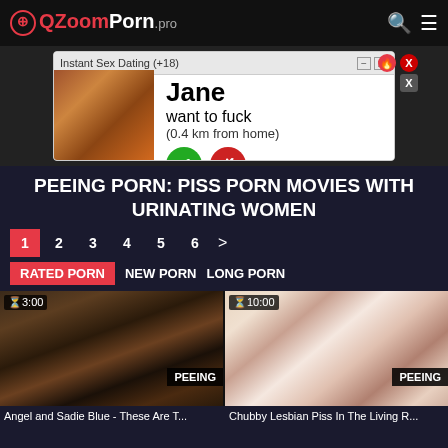ZoomPorn.pro
[Figure (screenshot): Advertisement popup for Instant Sex Dating (+18) showing a person and a notification from Jane saying 'want to fuck (0.4 km from home)' with accept and decline buttons]
PEEING PORN: PISS PORN MOVIES WITH URINATING WOMEN
1 2 3 4 5 6 >
RATED PORN  NEW PORN  LONG PORN
[Figure (photo): Video thumbnail for 'Angel and Sadie Blue - These Are T...' showing outdoor scene, duration 3:00, tagged PEEING]
[Figure (photo): Video thumbnail for 'Chubby Lesbian Piss In The Living R...' showing intimate scene, duration 10:00, tagged PEEING]
Angel and Sadie Blue - These Are T...
Chubby Lesbian Piss In The Living R...